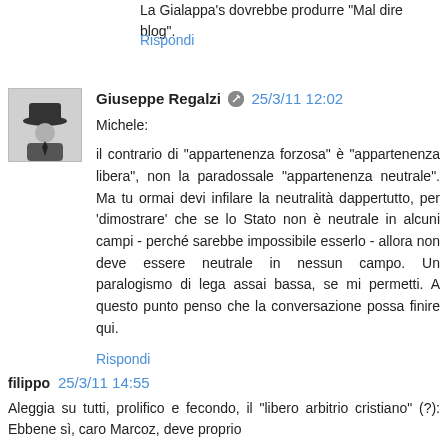La Gialappa's dovrebbe produrre "Mal dire blog".
Rispondi
Giuseppe Regalzi  25/3/11 12:02
Michele:

il contrario di "appartenenza forzosa" è "appartenenza libera", non la paradossale "appartenenza neutrale". Ma tu ormai devi infilare la neutralità dappertutto, per 'dimostrare' che se lo Stato non è neutrale in alcuni campi - perché sarebbe impossibile esserlo - allora non deve essere neutrale in nessun campo. Un paralogismo di lega assai bassa, se mi permetti. A questo punto penso che la conversazione possa finire qui.
Rispondi
filippo  25/3/11 14:55
Aleggia su tutti, prolifico e fecondo, il "libero arbitrio cristiano" (?): Ebbene sì, caro Marcoz, deve proprio